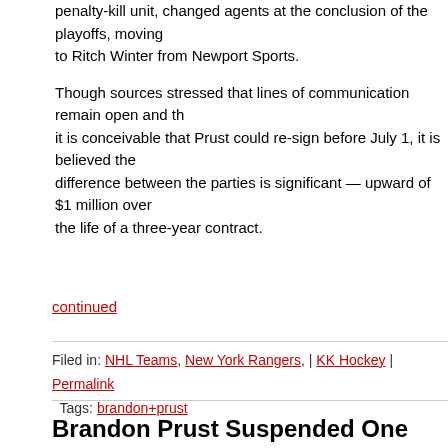penalty-kill unit, changed agents at the conclusion of the playoffs, moving to Ritch Winter from Newport Sports.
Though sources stressed that lines of communication remain open and that it is conceivable that Prust could re-sign before July 1, it is believed the difference between the parties is significant — upward of $1 million over the life of a three-year contract.
continued
Filed in: NHL Teams, New York Rangers, | KK Hockey | Permalink
Tags: brandon+prust
Brandon Prust Suspended One Game
by Paul on 05/20/12 at 10:51 PM ET
Comments (2)
Almost 1 1/2 hours ago reports surfaced Prust was getting suspended for one gam…
As of this moment, still nothing official from Brendan Shanahan but I am sure the r… accurate.
Update: Here's confirmation via video…